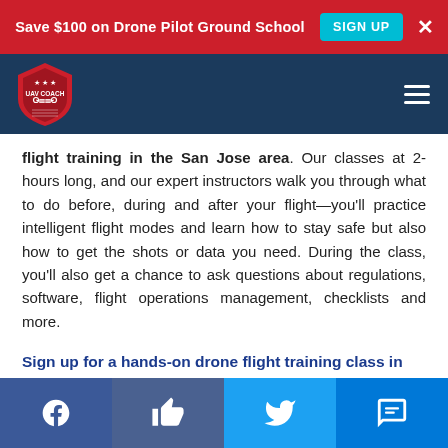Save $100 on Drone Pilot Ground School  SIGN UP  ×
[Figure (logo): UAV Coach logo — shield with drone icon and stars]
flight training in the San Jose area. Our classes at 2-hours long, and our expert instructors walk you through what to do before, during and after your flight—you'll practice intelligent flight modes and learn how to stay safe but also how to get the shots or data you need. During the class, you'll also get a chance to ask questions about regulations, software, flight operations management, checklists and more.
Sign up for a hands-on drone flight training class in San Jose.
Facebook  Like  Twitter  SMS